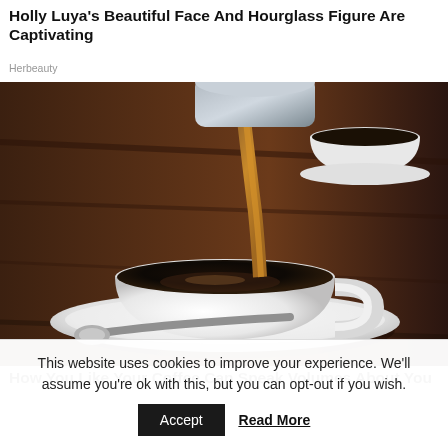Holly Luya's Beautiful Face And Hourglass Figure Are Captivating
Herbeauty
[Figure (photo): A white coffee cup being filled with black coffee poured from a kettle, sitting on a white saucer with a spoon, on a dark wooden table. A second cup visible in background.]
How You Like Your Coffee Can Speak Volumes About You
This website uses cookies to improve your experience. We'll assume you're ok with this, but you can opt-out if you wish.
Accept   Read More